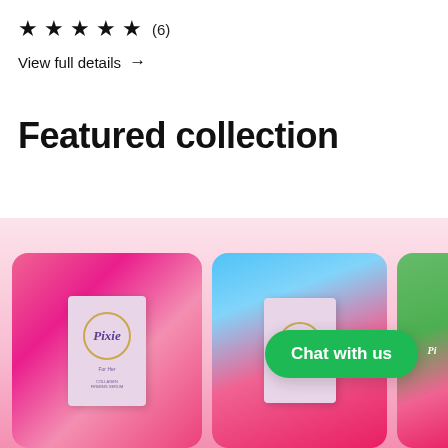★★★★½ (6)
View full details →
Featured collection
[Figure (photo): Two product cards showing Pixie brand boxes on pink satin fabric, displayed side by side in a featured collection section. A green 'Chat with us' button overlays the second product image. The background has a pink gradient.]
Chat with us